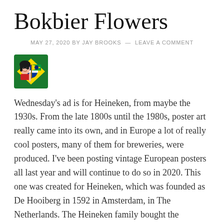Bokbier Flowers
MAY 27, 2020 BY JAY BROOKS — LEAVE A COMMENT
[Figure (illustration): Small avatar/emoji illustration of a woman with black hair holding a Brazilian flag, on a green background]
Wednesday's ad is for Heineken, from maybe the 1930s. From the late 1800s until the 1980s, poster art really came into its own, and in Europe a lot of really cool posters, many of them for breweries, were produced. I've been posting vintage European posters all last year and will continue to do so in 2020. This one was created for Heineken, which was founded as De Hooiberg in 1592 in Amsterdam, in The Netherlands. The Heineken family bought the brewery and renamed it in 1864.